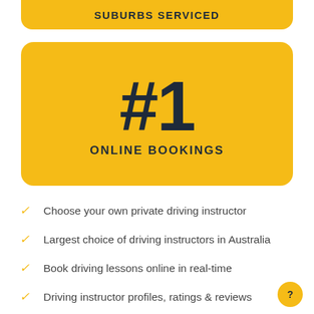SUBURBS SERVICED
#1
ONLINE BOOKINGS
Choose your own private driving instructor
Largest choice of driving instructors in Australia
Book driving lessons online in real-time
Driving instructor profiles, ratings & reviews
Manage your driving lesson bookings online